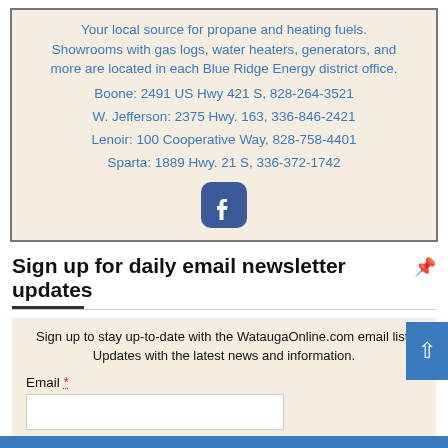Your local source for propane and heating fuels. Showrooms with gas logs, water heaters, generators, and more are located in each Blue Ridge Energy district office. Boone: 2491 US Hwy 421 S, 828-264-3521 W. Jefferson: 2375 Hwy. 163, 336-846-2421 Lenoir: 100 Cooperative Way, 828-758-4401 Sparta: 1889 Hwy. 21 S, 336-372-1742
[Figure (logo): Facebook icon button (blue rounded square with white 'f')]
Sign up for daily email newsletter updates
Sign up to stay up-to-date with the WataugaOnline.com email list. Updates with the latest news and information.
Email *
First & Last Name *